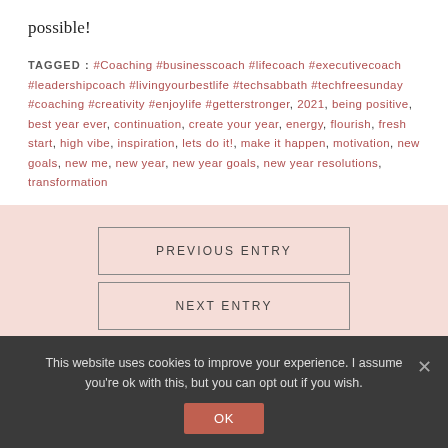possible!
TAGGED: #Coaching #businesscoach #lifecoach #executivecoach #leadershipcoach #livingyourbestlife #techsabbath #techfreesunday #coaching #creativity #enjoylife #getterstronger, 2021, being positive, best year ever, continuation, create your year, energy, flourish, fresh start, high vibe, inspiration, lets do it!, make it happen, motivation, new goals, new me, new year, new year goals, new year resolutions, transformation
PREVIOUS ENTRY
NEXT ENTRY
This website uses cookies to improve your experience. I assume you're ok with this, but you can opt out if you wish.
OK